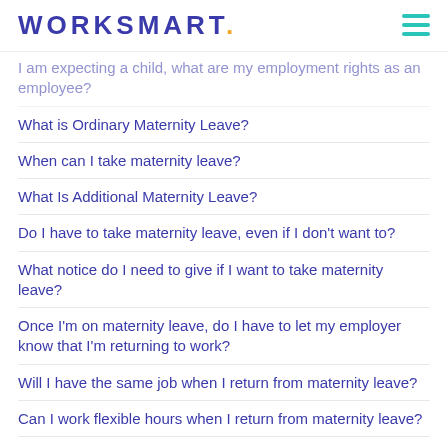WORKSMART.
I am expecting a child, what are my employment rights as an employee?
What is Ordinary Maternity Leave?
When can I take maternity leave?
What Is Additional Maternity Leave?
Do I have to take maternity leave, even if I don't want to?
What notice do I need to give if I want to take maternity leave?
Once I'm on maternity leave, do I have to let my employer know that I'm returning to work?
Will I have the same job when I return from maternity leave?
Can I work flexible hours when I return from maternity leave?
Am I entitled to Statutory Maternity Pay (SMP)?
How much do I receive in Statutory Maternity Pay?